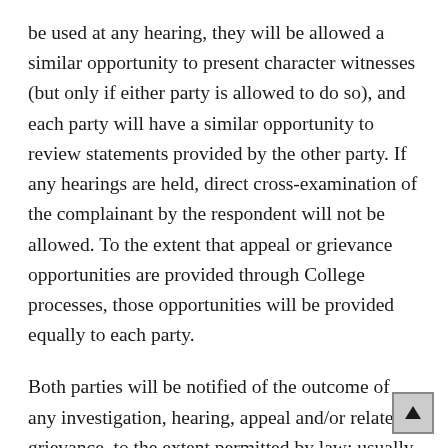be used at any hearing, they will be allowed a similar opportunity to present character witnesses (but only if either party is allowed to do so), and each party will have a similar opportunity to review statements provided by the other party. If any hearings are held, direct cross-examination of the complainant by the respondent will not be allowed. To the extent that appeal or grievance opportunities are provided through College processes, those opportunities will be provided equally to each party.
Both parties will be notified of the outcome of any investigation, hearing, appeal and/or related grievance, to the extent permitted by law; usually, this will occur within 14 days of the conclusion of an investigation, hearing, and/or appeal, absent